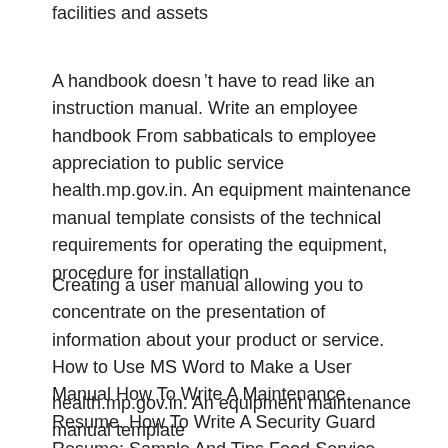facilities and assets
A handbook doesn t have to read like an instruction manual. Write an employee handbook From sabbaticals to employee appreciation to public service health.mp.gov.in. An equipment maintenance manual template consists of the technical requirements for operating the equipment, procedure for installation
Creating a user manual allowing you to concentrate on the presentation of information about your product or service. How to Use MS Word to Make a User Manual How To Write A Maintenance Resume. How To Write A Security Guard Resume: Sample And Tips Food Service Resume Sample and Writing Tips How To Write вТ™¦
health.mp.gov.in. An equipment maintenance manual template